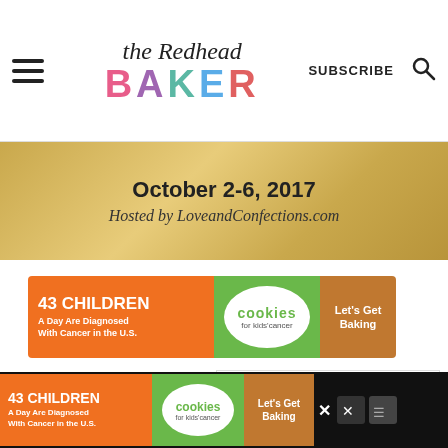the Redhead BAKER — SUBSCRIBE
[Figure (infographic): Gold decorative banner with text: October 2-6, 2017 / Hosted by LoveandConfections.com]
[Figure (infographic): Cookies for Kids Cancer ad banner: 43 Children A Day Are Diagnosed With Cancer in the U.S. Let's Get Baking]
[Figure (infographic): What's Next panel: Apple Pie with Oat Crumble...]
[Figure (infographic): Bottom Cookies for Kids Cancer ad banner: 43 Children A Day Are Diagnosed With Cancer in the U.S. Let's Get Baking]